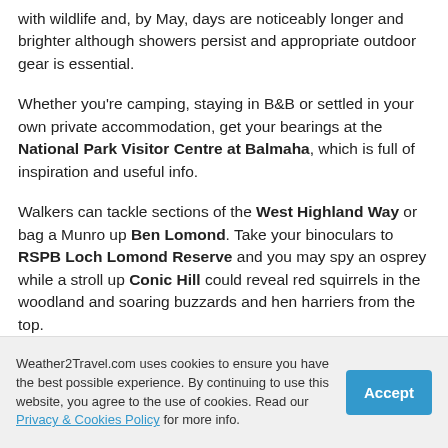with wildlife and, by May, days are noticeably longer and brighter although showers persist and appropriate outdoor gear is essential.
Whether you're camping, staying in B&B or settled in your own private accommodation, get your bearings at the National Park Visitor Centre at Balmaha, which is full of inspiration and useful info.
Walkers can tackle sections of the West Highland Way or bag a Munro up Ben Lomond. Take your binoculars to RSPB Loch Lomond Reserve and you may spy an osprey while a stroll up Conic Hill could reveal red squirrels in the woodland and soaring buzzards and hen harriers from the top.
Weather2Travel.com uses cookies to ensure you have the best possible experience. By continuing to use this website, you agree to the use of cookies. Read our Privacy & Cookies Policy for more info.